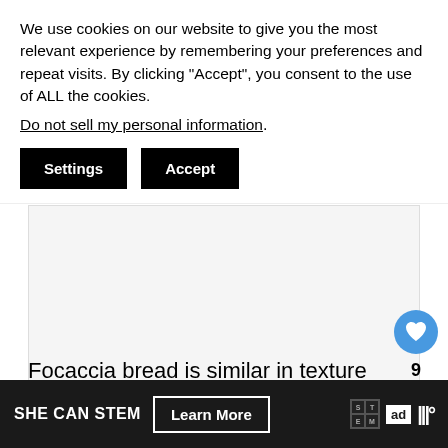We use cookies on our website to give you the most relevant experience by remembering your preferences and repeat visits. By clicking "Accept", you consent to the use of ALL the cookies.
Do not sell my personal information.
Settings  Accept
[Figure (photo): Large image placeholder area, light gray background]
[Figure (other): Heart/like button (blue circle with heart icon), count '9', share button, and 'WHAT'S NEXT' thumbnail card showing 'Best Cranberry...']
Focaccia bread is similar in texture to pizza but can be baked into a loaf. What makes it so tasty as
SHE CAN STEM  Learn More  [ad council logo]